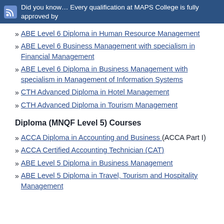Did you know… Every qualification at MAPS College is fully approved by
ABE Level 6 Diploma in Human Resource Management
ABE Level 6 Business Management with specialism in Financial Management
ABE Level 6 Diploma in Business Management with specialism in Management of Information Systems
CTH Advanced Diploma in Hotel Management
CTH Advanced Diploma in Tourism Management
Diploma (MNQF Level 5) Courses
ACCA Diploma in Accounting and Business (ACCA Part I)
ACCA Certified Accounting Technician (CAT)
ABE Level 5 Diploma in Business Management
ABE Level 5 Diploma in Travel, Tourism and Hospitality Management